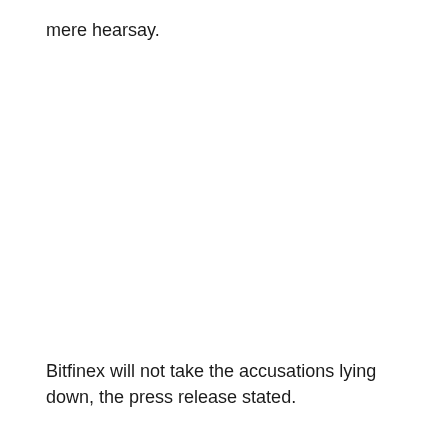mere hearsay.
Bitfinex will not take the accusations lying down, the press release stated.